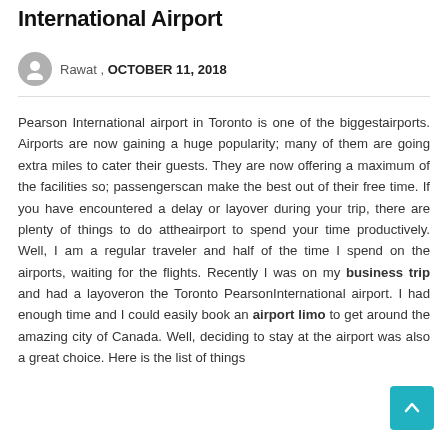International Airport
Rawat , OCTOBER 11, 2018
Pearson International airport in Toronto is one of the biggestairports. Airports are now gaining a huge popularity; many of them are going extra miles to cater their guests. They are now offering a maximum of the facilities so; passengerscan make the best out of their free time. If you have encountered a delay or layover during your trip, there are plenty of things to do attheairport to spend your time productively. Well, I am a regular traveler and half of the time I spend on the airports, waiting for the flights. Recently I was on my business trip and had a layoveron the Toronto PearsonInternational airport. I had enough time and I could easily book an airport limo to get around the amazing city of Canada. Well, deciding to stay at the airport was also a great choice. Here is the list of things